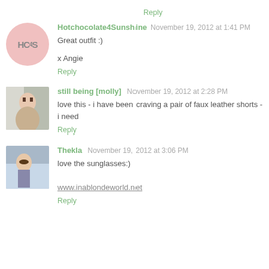Reply
Hotchocolate4Sunshine  November 19, 2012 at 1:41 PM
Great outfit :)
x Angie
Reply
still being [molly]  November 19, 2012 at 2:28 PM
love this - i have been craving a pair of faux leather shorts - i need
Reply
Thekla  November 19, 2012 at 3:06 PM
love the sunglasses:)
www.inablondeworld.net
Reply